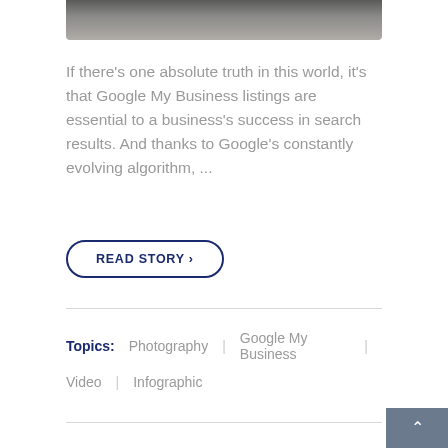[Figure (photo): Bottom portion of a photo showing a camera or dark object on a light background]
If there's one absolute truth in this world, it's that Google My Business listings are essential to a business's success in search results. And thanks to Google's constantly evolving algorithm, ...
READ STORY ›
Topics:  Photography  |  Google My Business  |  Video  |  Infographic